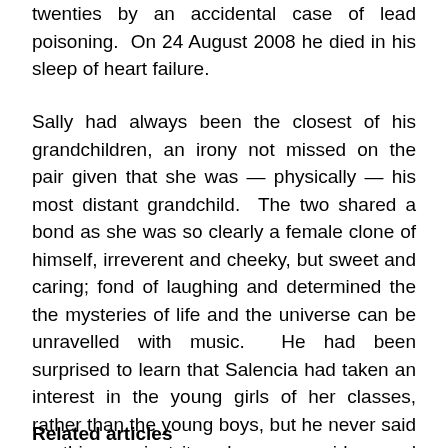twenties by an accidental case of lead poisoning.  On 24 August 2008 he died in his sleep of heart failure.
Sally had always been the closest of his grandchildren, an irony not missed on the pair given that she was — physically — his most distant grandchild.  The two shared a bond as she was so clearly a female clone of himself, irreverent and cheeky, but sweet and caring; fond of laughing and determined the the mysteries of life and the universe can be unravelled with music.  He had been surprised to learn that Salencia had taken an interest in the young girls of her classes, rather than the young boys, but he never said anything against it — he never said a word about it at all to anyone except a few quiet and private ones with Rachele.
Related articles